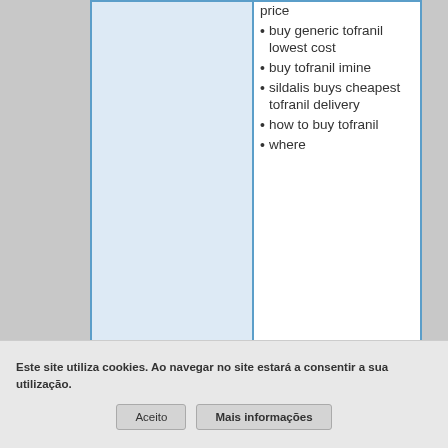price
buy generic tofranil lowest cost
buy tofranil imine
sildalis buys cheapest tofranil delivery
how to buy tofranil
where
Este site utiliza cookies. Ao navegar no site estará a consentir a sua utilização.